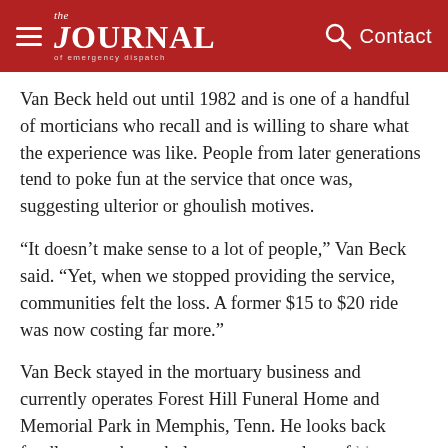the JOURNAL of emergency dispatch | Contact
Van Beck held out until 1982 and is one of a handful of morticians who recall and is willing to share what the experience was like. People from later generations tend to poke fun at the service that once was, suggesting ulterior or ghoulish motives.
“It doesn’t make sense to a lot of people,” Van Beck said. “Yet, when we stopped providing the service, communities felt the loss. A former $15 to $20 ride was now costing far more.”
Van Beck stayed in the mortuary business and currently operates Forest Hill Funeral Home and Memorial Park in Memphis, Tenn. He looks back fondly upon the ambulance transport days of his profession, although also admitting the relief the end of the dual role produced.